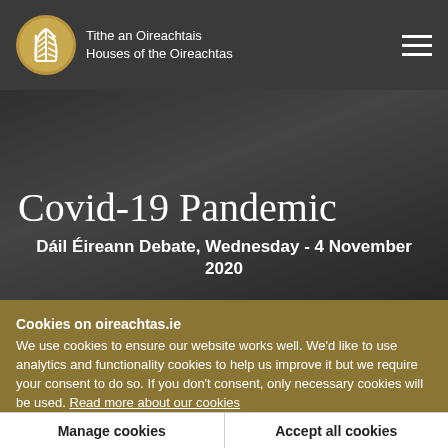Tithe an Oireachtais Houses of the Oireachtas
Covid-19 Pandemic
Dáil Éireann Debate, Wednesday - 4 November 2020
Cookies on oireachtas.ie
We use cookies to ensure our website works well. We'd like to use analytics and functionality cookies to help us improve it but we require your consent to do so. If you don't consent, only necessary cookies will be used. Read more about our cookies
Manage cookies
Accept all cookies